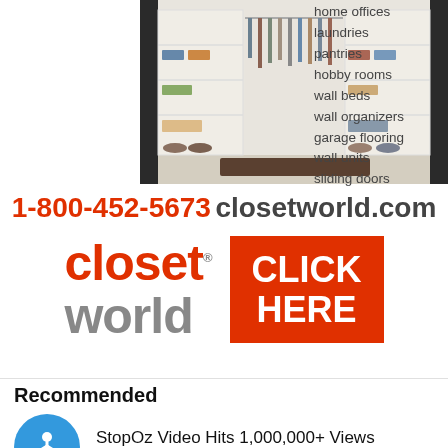[Figure (photo): Photo of a well-organized walk-in closet with white shelving units, hanging clothes, folded items, and shoes displayed on lower shelves]
home offices
laundries
pantries
hobby rooms
wall beds
wall organizers
garage flooring
wall units
sliding doors
1-800-452-5673  closetworld.com
[Figure (logo): Closet World logo with red 'closet' text and grey 'world' text, alongside an orange-red 'CLICK HERE' button]
Recommended
StopOz Video Hits 1,000,000+ Views
3 HOURS AGO